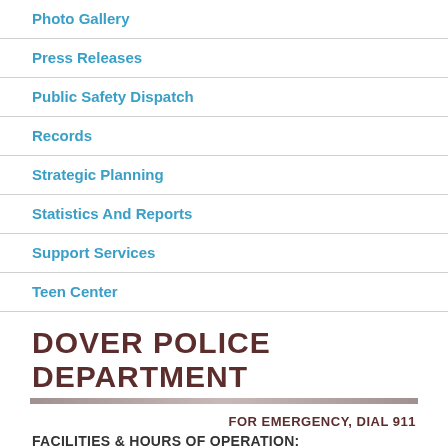Photo Gallery
Press Releases
Public Safety Dispatch
Records
Strategic Planning
Statistics And Reports
Support Services
Teen Center
DOVER POLICE DEPARTMENT
FOR EMERGENCY, DIAL 911
FACILITIES & HOURS OF OPERATION: